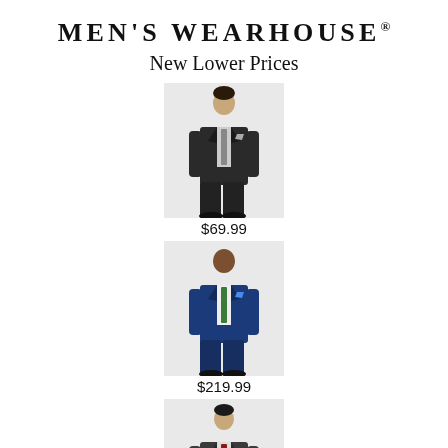MEN'S WEARHOUSE®
New Lower Prices
[Figure (photo): Man wearing a dark black suit, full body shot on light gray background. Price: $69.99]
$69.99
[Figure (photo): Man wearing a royal blue suit, full body shot on light gray background. Price: $219.99]
$219.99
[Figure (photo): Man wearing a dark charcoal suit with red tie, full body shot on light gray background. Price: $69.99]
$69.99